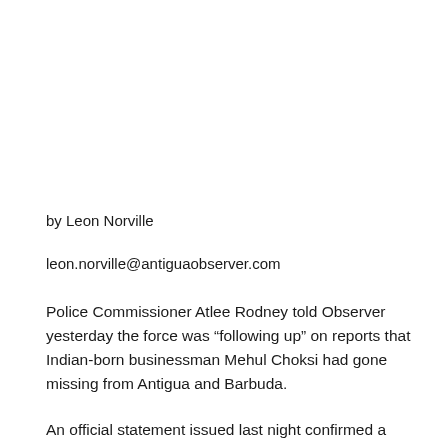by Leon Norville
leon.norville@antiguaobserver.com
Police Commissioner Atlee Rodney told Observer yesterday the force was “following up” on reports that Indian-born businessman Mehul Choksi had gone missing from Antigua and Barbuda.
An official statement issued last night confirmed a missing person’s report had been filed for him on Sunday at Johnson’s Point Police Station.